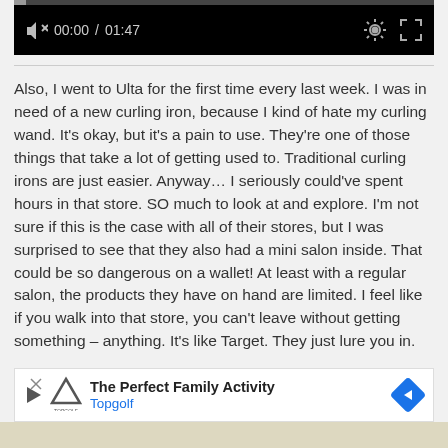[Figure (screenshot): Video player controls showing mute icon, time 00:00 / 01:47, settings gear icon, and fullscreen icon on black background]
Also, I went to Ulta for the first time every last week. I was in need of a new curling iron, because I kind of hate my curling wand. It's okay, but it's a pain to use. They're one of those things that take a lot of getting used to. Traditional curling irons are just easier. Anyway… I seriously could've spent hours in that store. SO much to look at and explore. I'm not sure if this is the case with all of their stores, but I was surprised to see that they also had a mini salon inside. That could be so dangerous on a wallet! At least with a regular salon, the products they have on hand are limited. I feel like if you walk into that store, you can't leave without getting something – anything. It's like Target. They just lure you in.
[Figure (screenshot): Advertisement banner for Topgolf: 'The Perfect Family Activity' with Topgolf logo and blue arrow icon]